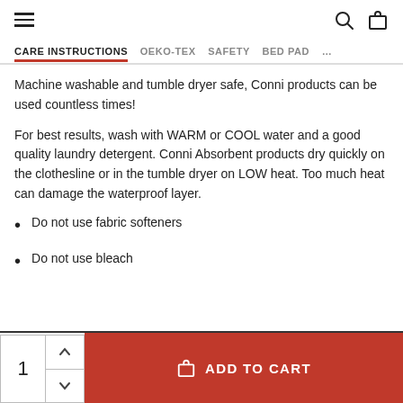Navigation bar with hamburger menu, search, and cart icons
CARE INSTRUCTIONS   OEKO-TEX  SAFETY   BED PAD  ...
Machine washable and tumble dryer safe, Conni products can be used countless times!
For best results, wash with WARM or COOL water and a good quality laundry detergent. Conni Absorbent products dry quickly on the clothesline or in the tumble dryer on LOW heat. Too much heat can damage the waterproof layer.
Do not use fabric softeners
Do not use bleach
1  ADD TO CART